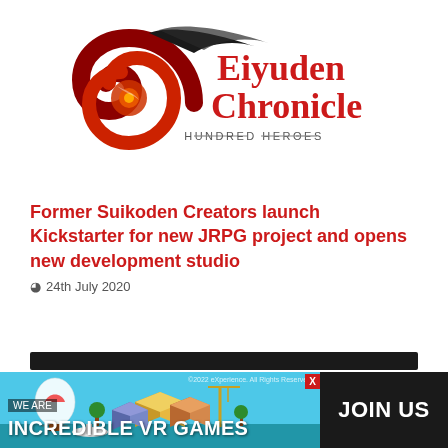[Figure (logo): Eiyuden Chronicle: Hundred Heroes game logo with stylized dragon/swirl emblem in red and dark tones, text 'Eiyuden Chronicle' in bold red serif font and '—HUNDRED HEROES—' beneath]
Former Suikoden Creators launch Kickstarter for new JRPG project and opens new development studio
24th July 2020
[Figure (advertisement): Advertisement banner at bottom: left side shows isometric VR city game scene with hot air balloon, right side black panel with 'JOIN US' text. Overlay text reads 'WE ARE / INCREDIBLE VR GAMES'. Close X button visible.]